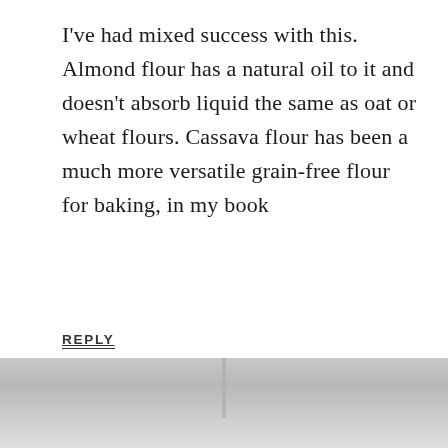I've had mixed success with this. Almond flour has a natural oil to it and doesn't absorb liquid the same as oat or wheat flours. Cassava flour has been a much more versatile grain-free flour for baking, in my book
REPLY
56
[Figure (other): Heart (like) button icon — circular white button with heart outline]
[Figure (other): Search button icon — circular green button with magnifying glass icon]
[Figure (photo): Partial image visible at bottom of page, appears to be a food or baking related photo in grayscale/muted tones]